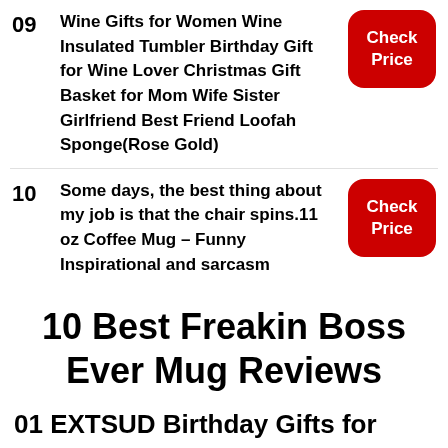09 Wine Gifts for Women Wine Insulated Tumbler Birthday Gift for Wine Lover Christmas Gift Basket for Mom Wife Sister Girlfriend Best Friend Loofah Sponge(Rose Gold) [Check Price]
10 Some days, the best thing about my job is that the chair spins.11 oz Coffee Mug – Funny Inspirational and sarcasm [Check Price]
10 Best Freakin Boss Ever Mug Reviews
01 EXTSUD Birthday Gifts for Women, Not A Day Over